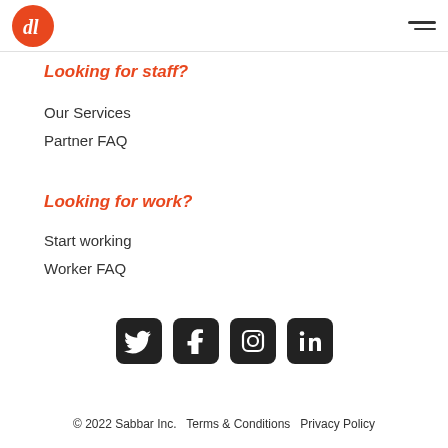Sabbar logo and navigation
Looking for staff?
Our Services
Partner FAQ
Looking for work?
Start working
Worker FAQ
[Figure (logo): Social media icons: Twitter, Facebook, Instagram, LinkedIn]
© 2022 Sabbar Inc.   Terms & Conditions   Privacy Policy